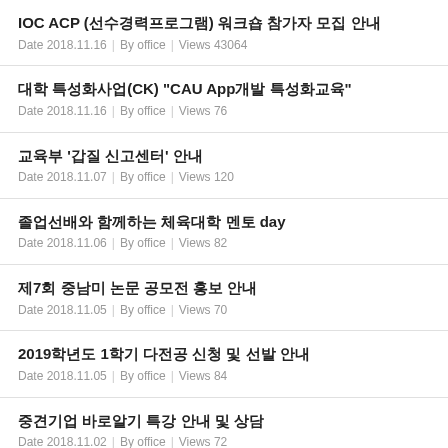IOC ACP (선수경력프로그램) 워크숍 참가자 모집 안내
Date 2018.11.16 | By office | Views 43064
대학 특성화사업(CK) "CAU App개발 특성화교육"
Date 2018.11.16 | By office | Views 76
교육부 '갑질 신고센터' 안내
Date 2018.11.07 | By office | Views 120
졸업선배와 함께하는 체육대학 멘토 day
Date 2018.11.06 | By office | Views 82
제7회 중남미 논문 공모전 홍보 안내
Date 2018.11.05 | By office | Views 70
2019학년도 1학기 다전공 신청 및 선발 안내
Date 2018.11.05 | By office | Views 84
중견기업 바로알기 특강 안내 및 상담
Date 2018.11.02 | By office | Views 72
청년 매입임대주택(대학생 및 취업준비생) 및 희망하우징(대학생 공공기숙사)